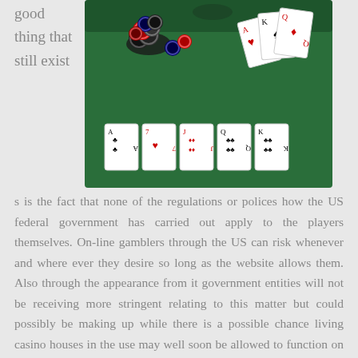good thing that still exists is the fact that none of the regulations or polices how the US federal government has carried out apply to the players themselves. On-line gamblers through the US can risk whenever and where ever they desire so long as the website allows them. Also through the appearance from it government entities will not be receiving more stringent relating to this matter but could possibly be making up while there is a possible chance living casino houses in the use may well soon be allowed to function on the web also. This can only indicate positive things for people athletes through the noises of this.
[Figure (photo): A green poker/casino table with playing cards and poker chips scattered on it, with five face-up cards at the bottom of the image.]